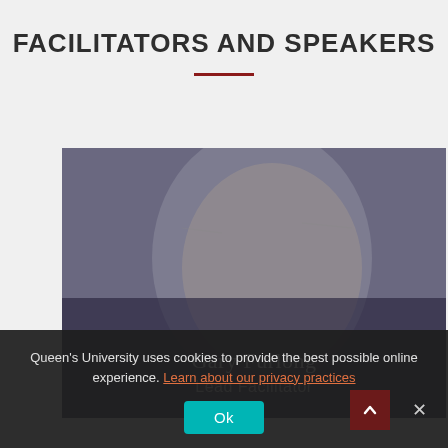FACILITATORS AND SPEAKERS
[Figure (photo): Black and white portrait photo of Gary Furlong, an older man, with a dark overlay. Text overlay shows name 'Gary Furlong' and title 'Lead Facilitator'.]
Queen's University uses cookies to provide the best possible online experience. Learn about our privacy practices